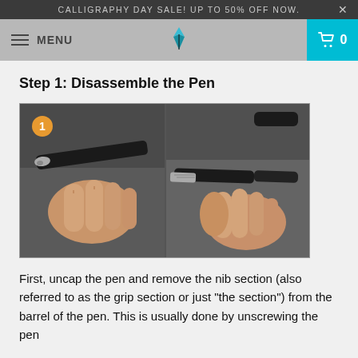CALLIGRAPHY DAY SALE! UP TO 50% OFF NOW.
MENU  0
Step 1: Disassemble the Pen
[Figure (photo): Two side-by-side photos showing hands disassembling a fountain pen. Left photo shows fingers holding the pen body with nib section visible and a number 1 badge in orange. Right photo shows the nib section separated from the barrel being unscrewed.]
First, uncap the pen and remove the nib section (also referred to as the grip section or just "the section") from the barrel of the pen. This is usually done by unscrewing the pen